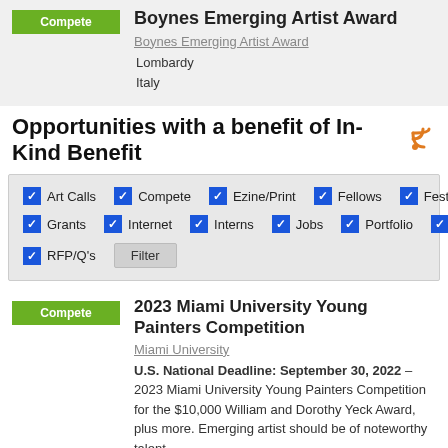Boynes Emerging Artist Award
Boynes Emerging Artist Award
Lombardy
Italy
Opportunities with a benefit of In-Kind Benefit
Art Calls
Compete
Ezine/Print
Fellows
Festivals
Grants
Internet
Interns
Jobs
Portfolio
Residency
RFP/Q's
2023 Miami University Young Painters Competition
Miami University
U.S. National Deadline: September 30, 2022 – 2023 Miami University Young Painters Competition for the $10,000 William and Dorothy Yeck Award, plus more. Emerging artist should be of noteworthy talent…